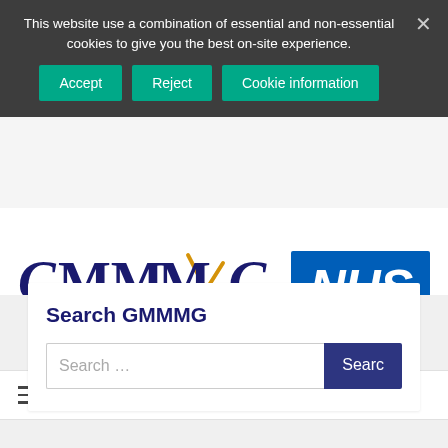This website use a combination of essential and non-essential cookies to give you the best on-site experience.
[Figure (other): Cookie consent buttons: Accept, Reject, Cookie information]
[Figure (logo): GMMMG - Greater Manchester Medicines Management Group logo]
[Figure (logo): NHS logo - blue rectangle with white italic NHS text]
Navigation
Search GMMMG
Search ...